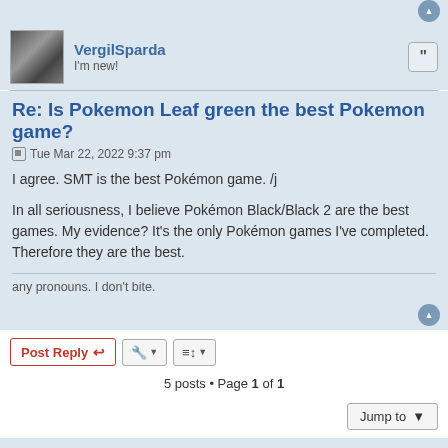VergilSparda · I'm new!
Re: Is Pokemon Leaf green the best Pokemon game?
Tue Mar 22, 2022 9:37 pm
I agree. SMT is the best Pokémon game. /j

In all seriousness, I believe Pokémon Black/Black 2 are the best games. My evidence? It's the only Pokémon games I've completed. Therefore they are the best.
any pronouns. I don't bite.
5 posts • Page 1 of 1
Anime Boston Home · Anime Boston Forums · All times are UTC-04:00
Powered by phpBB® Forum Software © phpBB Limited